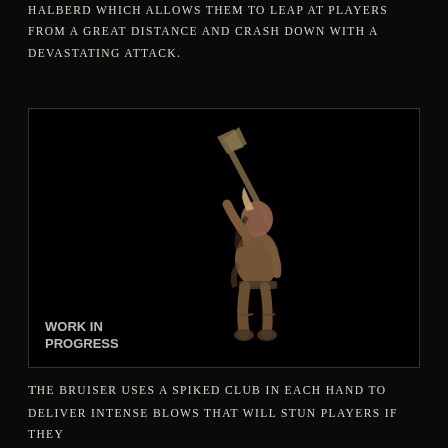halberd which allows them to leap at players from a great distance and crash down with a devastating attack.
[Figure (photo): A dark game character model holding a halberd/weapon above their head, shown against a black background. The character wears primitive armor and appears to be a large humanoid enemy. A 'WORK IN PROGRESS' watermark is visible in the lower left corner.]
The bruiser uses a spiked club in each hand to deliver intense blows that will stun players if they